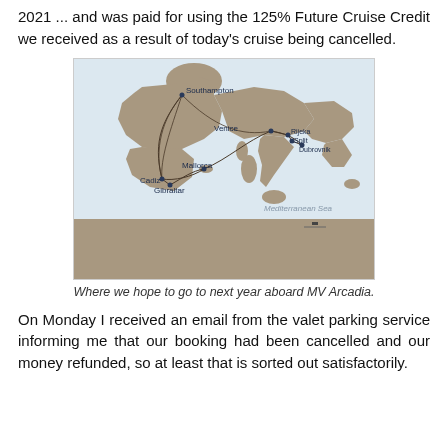2021 ... and was paid for using the 125% Future Cruise Credit we received as a result of today's cruise being cancelled.
[Figure (map): A cruise route map showing the Mediterranean Sea region with labeled stops: Southampton, Venice, Rijeka, Split, Dubrovnik, Mallorca, Cadiz, Gibraltar. Route lines connect these ports.]
Where we hope to go to next year aboard MV Arcadia.
On Monday I received an email from the valet parking service informing me that our booking had been cancelled and our money refunded, so at least that is sorted out satisfactorily.